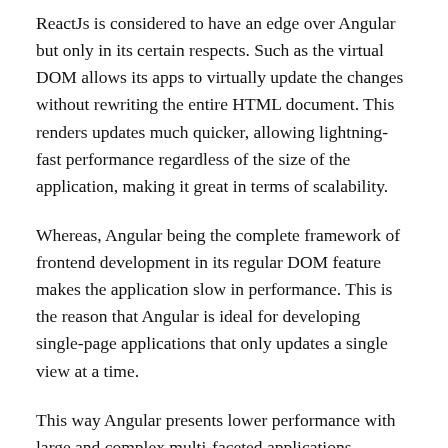ReactJs is considered to have an edge over Angular but only in its certain respects. Such as the virtual DOM allows its apps to virtually update the changes without rewriting the entire HTML document. This renders updates much quicker, allowing lightning-fast performance regardless of the size of the application, making it great in terms of scalability.
Whereas, Angular being the complete framework of frontend development in its regular DOM feature makes the application slow in performance. This is the reason that Angular is ideal for developing single-page applications that only updates a single view at a time.
This way Angular presents lower performance with large and complex multi-faceted applications. However, Angular has Change Detection techniqu...